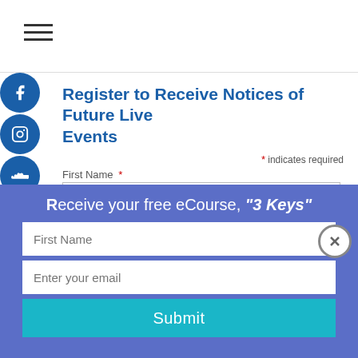≡ (hamburger menu icon)
Register to Receive Notices of Future Live Events
* indicates required
First Name *
Last Name
Email Address
Receive your free eCourse, "3 Keys"
First Name
Enter your email
Submit